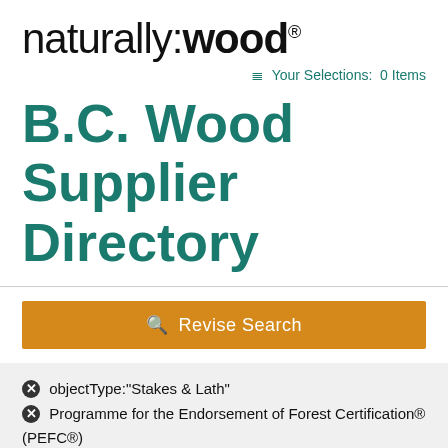[Figure (logo): naturally:wood logo with registered trademark symbol]
☰ Your Selections:  0 Items
B.C. Wood Supplier Directory
🔍 Revise Search
✖ objectType:"Stakes & Lath"
✖ Programme for the Endorsement of Forest Certification® (PEFC®)
✖ Western Red Cedar  ✖ Planing/Sanding